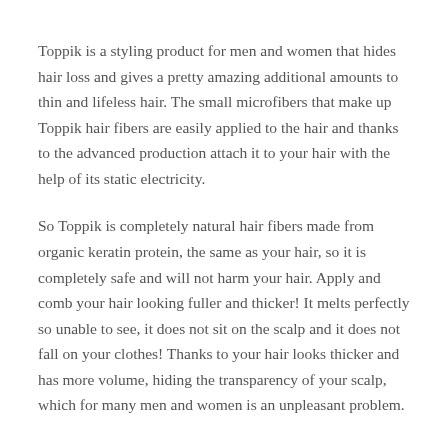Toppik is a styling product for men and women that hides hair loss and gives a pretty amazing additional amounts to thin and lifeless hair. The small microfibers that make up Toppik hair fibers are easily applied to the hair and thanks to the advanced production attach it to your hair with the help of its static electricity.
So Toppik is completely natural hair fibers made from organic keratin protein, the same as your hair, so it is completely safe and will not harm your hair. Apply and comb your hair looking fuller and thicker! It melts perfectly so unable to see, it does not sit on the scalp and it does not fall on your clothes! Thanks to your hair looks thicker and has more volume, hiding the transparency of your scalp, which for many men and women is an unpleasant problem.
The package contains two jars!